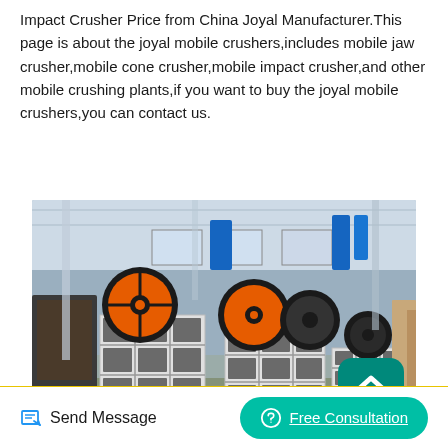Impact Crusher Price from China Joyal Manufacturer.This page is about the joyal mobile crushers,includes mobile jaw crusher,mobile cone crusher,mobile impact crusher,and other mobile crushing plants,if you want to buy the joyal mobile crushers,you can contact us.
[Figure (photo): Photo of industrial factory floor showing multiple white mobile jaw crusher machines with large orange and black flywheels, arranged in a warehouse/manufacturing hall with high ceilings and structural columns.]
Send Message
Free Consultation